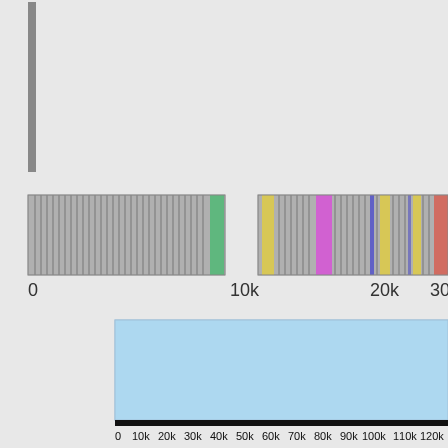[Figure (other): Genomic/sequence visualization showing two panels: top panel has a horizontal segmented bar chart with colored segments (gray, green, yellow, magenta, blue, orange) with a vertical gray bar on the left and x-axis labels 0, 10k, 20k, 30k. Bottom panel shows a large light blue rectangle above a black bar with x-axis labels 0, 10k, 20k, 30k, 40k, 50k, 60k, 70k, 80k, 90k, 100k, 110k, 120k.]